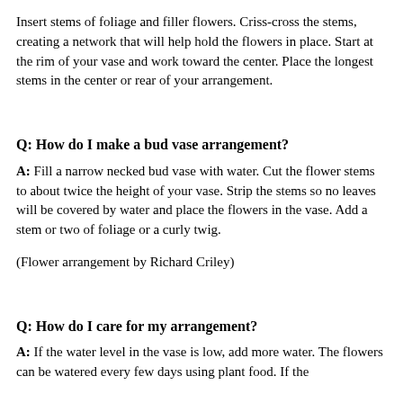Insert stems of foliage and filler flowers. Criss-cross the stems, creating a network that will help hold the flowers in place. Start at the rim of your vase and work toward the center. Place the longest stems in the center or rear of your arrangement.
Q: How do I make a bud vase arrangement?
A: Fill a narrow necked bud vase with water. Cut the flower stems to about twice the height of your vase. Strip the stems so no leaves will be covered by water and place the flowers in the vase. Add a stem or two of foliage or a curly twig.
(Flower arrangement by Richard Criley)
Q: How do I care for my arrangement?
A: If the water level in the vase is low, add more water. The flowers can be watered every few days using plant food. If the